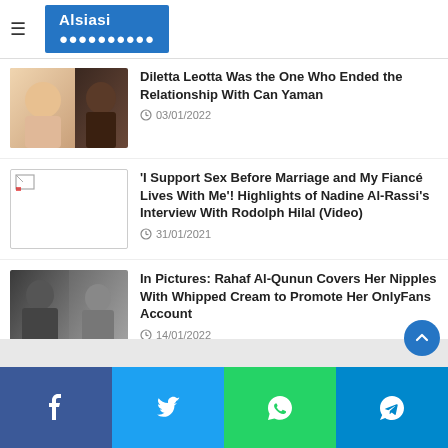Alsiasi
Diletta Leotta Was the One Who Ended the Relationship With Can Yaman
03/01/2022
'I Support Sex Before Marriage and My Fiancé Lives With Me'! Highlights of Nadine Al-Rassi's Interview With Rodolph Hilal (Video)
31/01/2021
In Pictures: Rahaf Al-Qunun Covers Her Nipples With Whipped Cream to Promote Her OnlyFans Account
14/01/2022